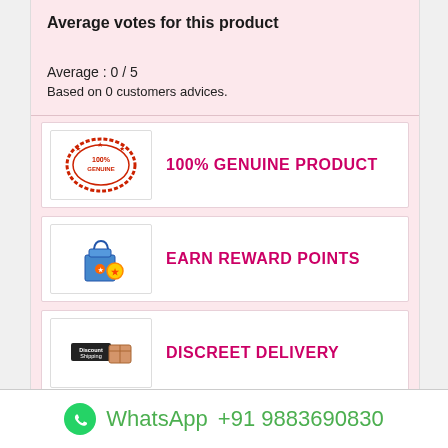Average votes for this product
Average : 0 / 5
Based on 0 customers advices.
[Figure (infographic): 100% GENUINE product stamp icon]
100% GENUINE PRODUCT
[Figure (infographic): Earn reward points icon with gift bag and star]
EARN REWARD POINTS
[Figure (infographic): Discreet shipping/delivery icon with package]
DISCREET DELIVERY
[Figure (infographic): No hidden cost icon with magnifying glass and dollar]
NO HIDDEN COST
WhatsApp  +91 9883690830